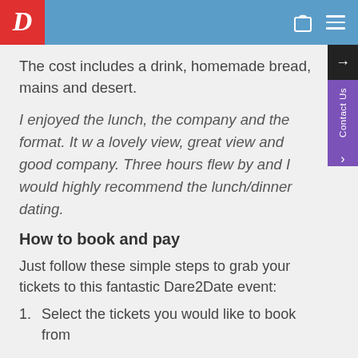D [logo] [bag icon] [menu icon]
The cost includes a drink, homemade bread, mains and desert.
I enjoyed the lunch, the company and the format. It w a lovely view, great view and good company. Three hours flew by and I would highly recommend the lunch/dinner dating.
How to book and pay
Just follow these simple steps to grab your tickets to this fantastic Dare2Date event:
1. Select the tickets you would like to book from